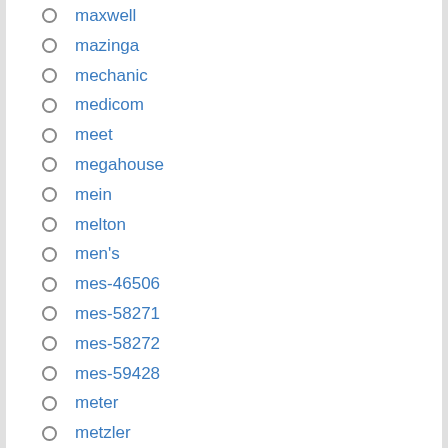maxwell
mazinga
mechanic
medicom
meet
megahouse
mein
melton
men's
mes-46506
mes-58271
mes-58272
mes-59428
meter
metzler
microscope
mike
milla
minarelli
microsoft (partial)